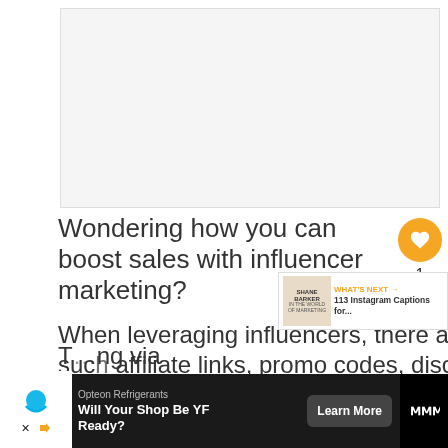[Figure (other): Blank/white image placeholder area at the top of the article page]
Wondering how you can boost sales with influencer marketing?
When leveraging influencers, there are multiple ways to boost your sales such as affiliate links, promo codes, discounts, and more.
[Figure (other): WHAT'S NEXT banner: Shane Barker book thumbnail with text '113 Instagram Captions for...']
T... ng via
[Figure (other): Advertisement banner: Opteon Refrigerants - Will Your Shop Be YF Ready? Learn More button. Dark background ad bar at bottom.]